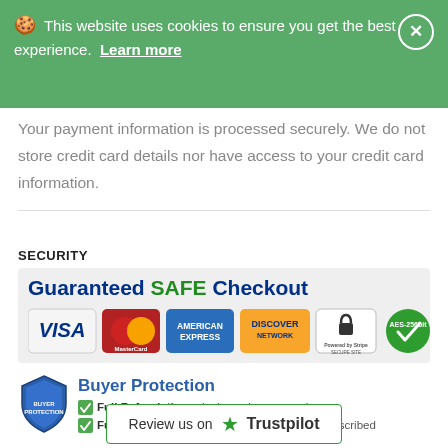🍪 This website uses cookies to ensure you get the best experience.  Learn more
Your payment information is processed securely. We do not store credit card details nor have access to your credit card information.
SECURITY
[Figure (infographic): Guaranteed SAFE Checkout banner with payment logos: VISA, MasterCard, American Express, Discover Network, Stripe Secure Site, AES-256bit security badge]
[Figure (infographic): Buyer Protection shield icon with text: Full Refund if you don't receive your order; Full or Partial Refund, if the item is not as described]
Review us on ★ Trustpilot